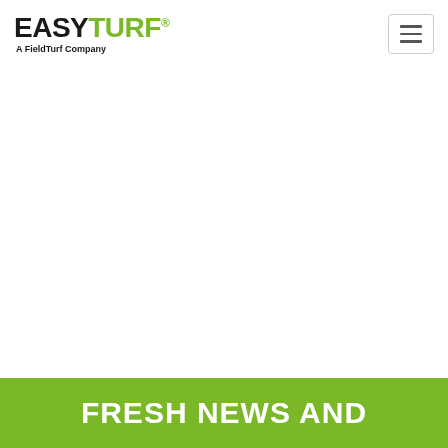EASYTURF® A FieldTurf Company
[Figure (other): Large white/blank content area in the middle of the page]
FRESH NEWS AND